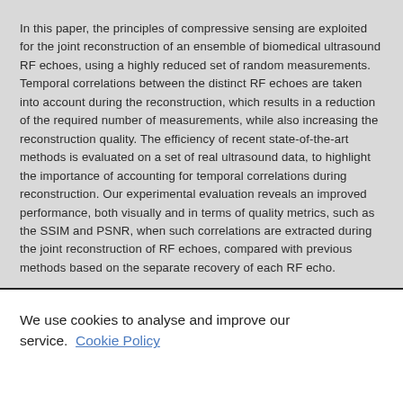In this paper, the principles of compressive sensing are exploited for the joint reconstruction of an ensemble of biomedical ultrasound RF echoes, using a highly reduced set of random measurements. Temporal correlations between the distinct RF echoes are taken into account during the reconstruction, which results in a reduction of the required number of measurements, while also increasing the reconstruction quality. The efficiency of recent state-of-the-art methods is evaluated on a set of real ultrasound data, to highlight the importance of accounting for temporal correlations during reconstruction. Our experimental evaluation reveals an improved performance, both visually and in terms of quality metrics, such as the SSIM and PSNR, when such correlations are extracted during the joint reconstruction of RF echoes, compared with previous methods based on the separate recovery of each RF echo.
We use cookies to analyse and improve our service. Cookie Policy